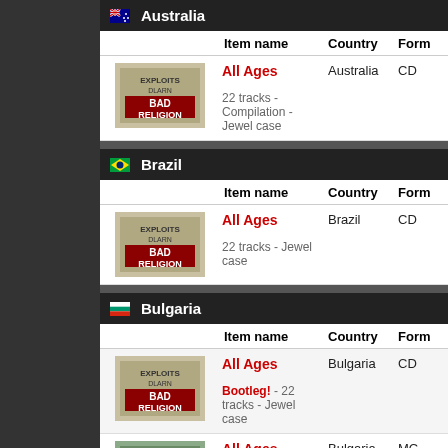Australia
| Item name | Country | Format |
| --- | --- | --- |
| All Ages / 22 tracks - Compilation - Jewel case | Australia | CD |
Brazil
| Item name | Country | Format |
| --- | --- | --- |
| All Ages / 22 tracks - Jewel case | Brazil | CD |
Bulgaria
| Item name | Country | Format |
| --- | --- | --- |
| All Ages / Bootleg! - 22 tracks - Jewel case | Bulgaria | CD |
| All Ages / Bootleg! - 22 tracks - Cassette Case | Bulgaria | MC |